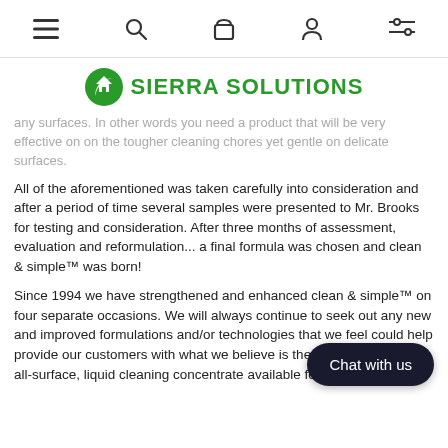Navigation bar with menu, search, bag, profile, and filter icons
[Figure (logo): Sierra Solutions green circular logo with house/leaf icon and green bold text 'SIERRA SOLUTIONS']
any surfaces. In other words you need a product that will be very effective on on the tougher cleaning chores yet gentle on delicate surfaces.
All of the aforementioned was taken carefully into consideration and after a period of time several samples were presented to Mr. Brooks for testing and consideration. After three months of assessment, evaluation and reformulation... a final formula was chosen and clean & simple™ was born!
Since 1994 we have strengthened and enhanced clean & simple™ on four separate occasions. We will always continue to seek out any new and improved formulations and/or technologies that we feel could help provide our customers with what we believe is the best multi-purpose, all-surface, liquid cleaning concentrate available for the